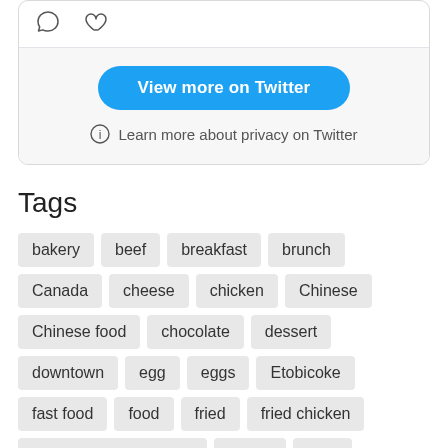[Figure (screenshot): Twitter embed card showing action icons (comment, like) and a 'View more on Twitter' button with privacy note]
Tags
bakery
beef
breakfast
brunch
Canada
cheese
chicken
Chinese
Chinese food
chocolate
dessert
downtown
egg
eggs
Etobicoke
fast food
food
fried
fried chicken
fried chicken sandwich
gelato
GTA
ice cream
Italian
Italian food
Japanese